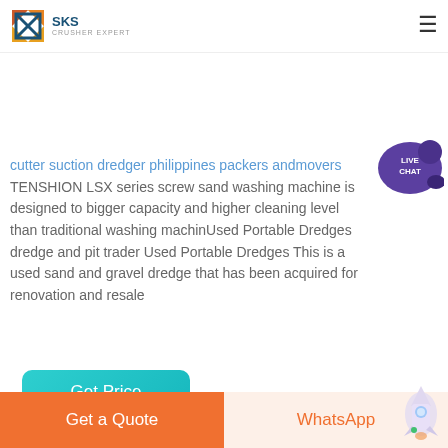SKS CRUSHER EXPERT
emaxlistinbig sand dredger machine for sales genegraeu
cutter suction dredger philippines packers andmovers TENSHION LSX series screw sand washing machine is designed to bigger capacity and higher cleaning level than traditional washing machinUsed Portable Dredges dredge and pit trader Used Portable Dredges This is a used sand and gravel dredge that has been acquired for renovation and resale
[Figure (other): Get Price button (teal/cyan rounded rectangle)]
[Figure (photo): Industrial machinery photo showing large cylindrical equipment in a factory/warehouse setting with steel roof structure]
[Figure (other): Live Chat speech bubble icon in purple with text LIVE CHAT]
Get a Quote | WhatsApp